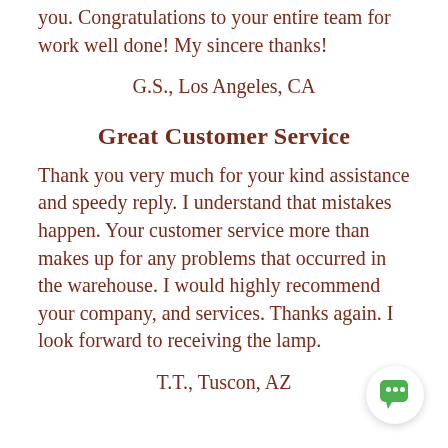you. Congratulations to your entire team for work well done! My sincere thanks!
G.S., Los Angeles, CA
Great Customer Service
Thank you very much for your kind assistance and speedy reply. I understand that mistakes happen. Your customer service more than makes up for any problems that occurred in the warehouse. I would highly recommend your company, and services. Thanks again. I look forward to receiving the lamp.
T.T., Tuscon, AZ
[Figure (illustration): Green chat bubble icon in a white circular button, bottom-right corner]